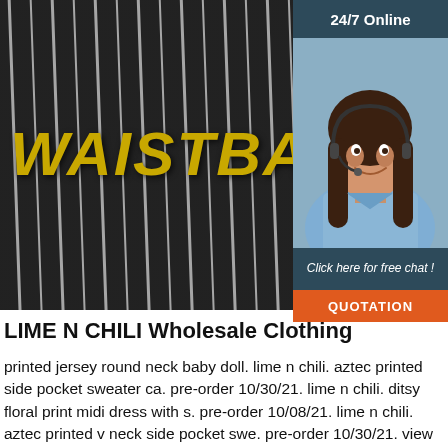[Figure (photo): Black and white striped fabric/clothing with the text WAISTBA in gold italic letters overlaid on it. Right side has a customer service panel with 24/7 Online header, agent photo, Click here for free chat! text, and QUOTATION button.]
LIME N CHILI Wholesale Clothing
printed jersey round neck baby doll. lime n chili. aztec printed side pocket sweater ca. pre-order 10/30/21. lime n chili. ditsy floral print midi dress with s. pre-order 10/08/21. lime n chili. aztec printed v neck side pocket swe. pre-order 10/30/21. view more products